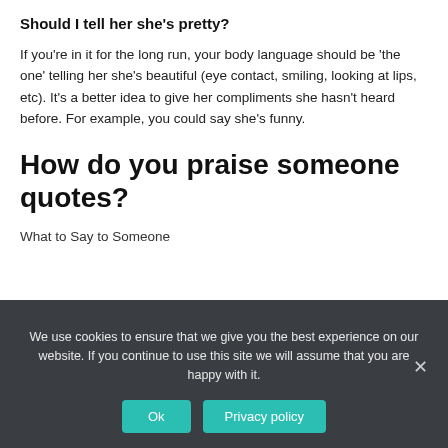Should I tell her she’s pretty?
If you’re in it for the long run, your body language should be ‘the one’ telling her she’s beautiful (eye contact, smiling, looking at lips, etc). It’s a better idea to give her compliments she hasn’t heard before. For example, you could say she’s funny.
How do you praise someone quotes?
What to Say to Someone
We use cookies to ensure that we give you the best experience on our website. If you continue to use this site we will assume that you are happy with it.